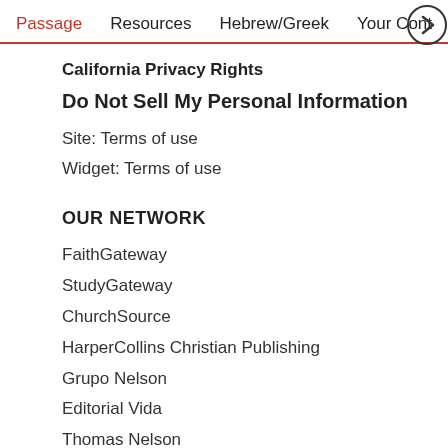Passage   Resources   Hebrew/Greek   Your Cont
California Privacy Rights
Do Not Sell My Personal Information
Site: Terms of use
Widget: Terms of use
OUR NETWORK
FaithGateway
StudyGateway
ChurchSource
HarperCollins Christian Publishing
Grupo Nelson
Editorial Vida
Thomas Nelson